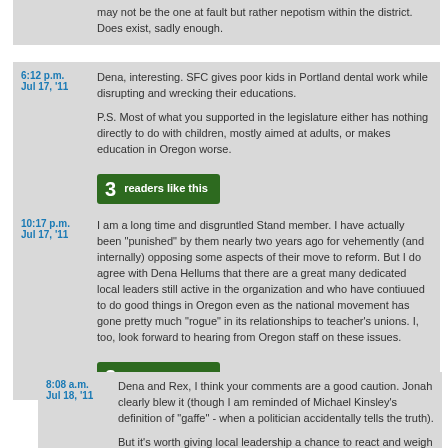may not be the one at fault but rather nepotism within the district. Does exist, sadly enough.
6:12 p.m. Jul 17, '11 — Dena, interesting. SFC gives poor kids in Portland dental work while disrupting and wrecking their educations.

P.S. Most of what you supported in the legislature either has nothing directly to do with children, mostly aimed at adults, or makes education in Oregon worse.

3 readers like this
10:17 p.m. Jul 17, '11 — I am a long time and disgruntled Stand member. I have actually been "punished" by them nearly two years ago for vehemently (and internally) opposing some aspects of their move to reform. But I do agree with Dena Hellums that there are a great many dedicated local leaders still active in the organization and who have contiuued to do good things in Oregon even as the national movement has gone pretty much "rogue" in its relationships to teacher's unions. I, too, look forward to hearing from Oregon staff on these issues.

3 readers like this
8:08 a.m. Jul 18, '11 — Dena and Rex, I think your comments are a good caution. Jonah clearly blew it (though I am reminded of Michael Kinsley's definition of "gaffe" - when a politician accidentally tells the truth).

But it's worth giving local leadership a chance to react and weigh in before everyone gets tarred with the same brush. (And they are welcome to submit a guest column here.)